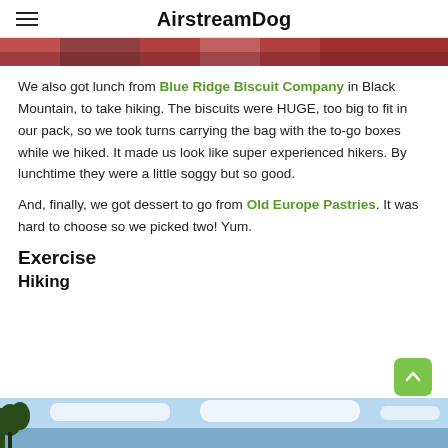AirstreamDog
[Figure (photo): Cropped top portion of a photo showing colorful food items in red packaging, partially visible at top of page]
We also got lunch from Blue Ridge Biscuit Company in Black Mountain, to take hiking. The biscuits were HUGE, too big to fit in our pack, so we took turns carrying the bag with the to-go boxes while we hiked. It made us look like super experienced hikers. By lunchtime they were a little soggy but so good.
And, finally, we got dessert to go from Old Europe Pastries. It was hard to choose so we picked two! Yum.
Exercise
Hiking
[Figure (photo): Bottom portion of page showing sky with clouds and tree silhouette, partially cropped hiking location photo]